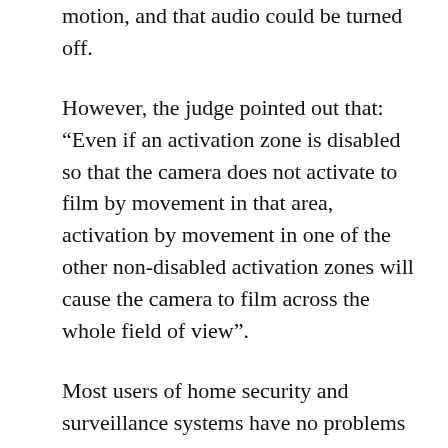motion, and that audio could be turned off.
However, the judge pointed out that: “Even if an activation zone is disabled so that the camera does not activate to film by movement in that area, activation by movement in one of the other non-disabled activation zones will cause the camera to film across the whole field of view”.
Most users of home security and surveillance systems have no problems with neighbours or passers-by. Indeed, many feel more secure in the knowledge that activity outside their homes is being monitored and agree that it is a good burglar deterrent. The police also use